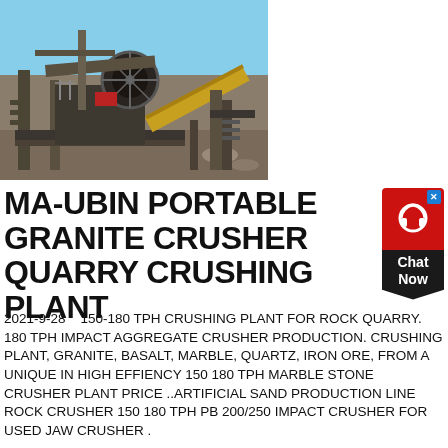[Figure (photo): Photograph of a portable granite crusher quarry crushing plant at an outdoor quarry site. Heavy industrial crushing machinery with a large flywheel, conveyor belt, and steel frame structure visible against a blue sky background with rocky terrain.]
MA-UBIN PORTABLE GRANITE CRUSHER QUARRY CRUSHING PLANT
2021-9-28    150-180 TPH CRUSHING PLANT FOR ROCK QUARRY. 180 TPH IMPACT AGGREGATE CRUSHER PRODUCTION. CRUSHING PLANT, GRANITE, BASALT, MARBLE, QUARTZ, IRON ORE, FROM A UNIQUE IN HIGH EFFIENCY 150 180 TPH MARBLE STONE CRUSHER PLANT PRICE ..ARTIFICIAL SAND PRODUCTION LINE ROCK CRUSHER 150 180 TPH PB 200/250 IMPACT CRUSHER FOR USED JAW CRUSHER .